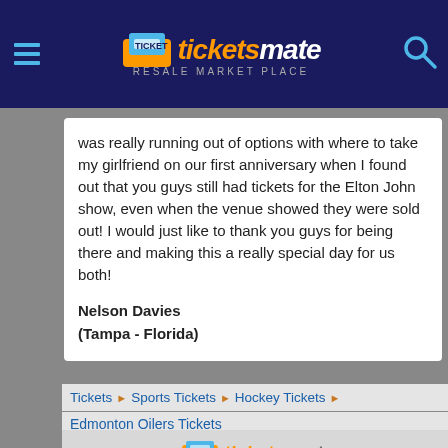ticketsmate RESALE MARKET PLACE
was really running out of options with where to take my girlfriend on our first anniversary when I found out that you guys still had tickets for the Elton John show, even when the venue showed they were sold out! I would just like to thank you guys for being there and making this a really special day for us both!
Nelson Davies
(Tampa - Florida)
Tickets  ▶  Sports Tickets  ▶  Hockey Tickets  ▶
Edmonton Oilers Tickets
ticketsmate
© 2009 - 2022 www.ticketsmate.com  Policies  Blog
Filters  View all Tickets